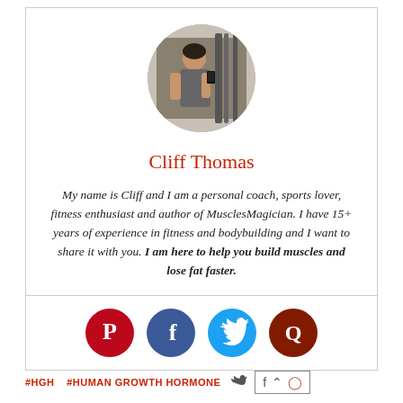[Figure (photo): Circular profile photo of Cliff Thomas, a man in a gray t-shirt taking a gym selfie with workout equipment in background]
Cliff Thomas
My name is Cliff and I am a personal coach, sports lover, fitness enthusiast and author of MusclesMagician. I have 15+ years of experience in fitness and bodybuilding and I want to share it with you. I am here to help you build muscles and lose fat faster.
[Figure (logo): Four social media icons in circles: Pinterest (dark red P), Facebook (blue f), Twitter (light blue bird), Quora (dark red Q)]
#HGH  #HUMAN GROWTH HORMONE